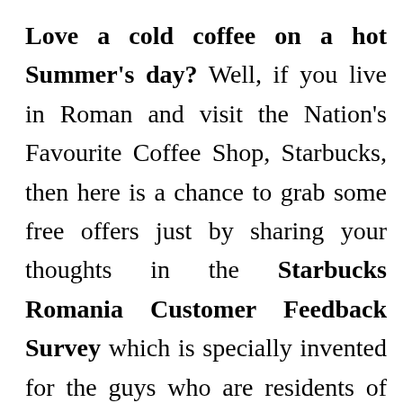Love a cold coffee on a hot Summer's day? Well, if you live in Roman and visit the Nation's Favourite Coffee Shop, Starbucks, then here is a chance to grab some free offers just by sharing your thoughts in the Starbucks Romania Customer Feedback Survey which is specially invented for the guys who are residents of Romania.

The www.experientastarbucks.ro is a Starbucks Romania Survey portal which is